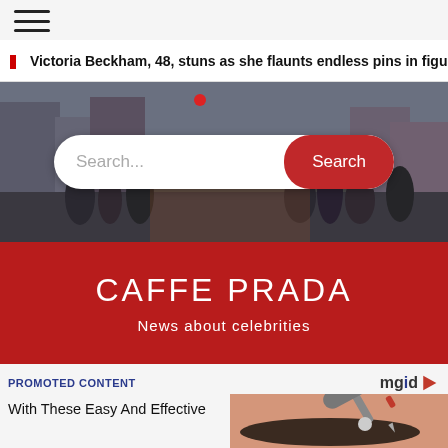☰ (hamburger menu)
Victoria Beckham, 48, stuns as she flaunts endless pins in figure
[Figure (photo): Search bar overlay on a crowd street scene photo, with a white rounded search input field and a red rounded Search button]
CAFFE PRADA
News about celebrities
PROMOTED CONTENT
[Figure (logo): mgid logo with colorful underline and play triangle icon]
[Figure (photo): Close-up of eyebrow tattoo procedure with a pen tool on skin]
With These Easy And Effective